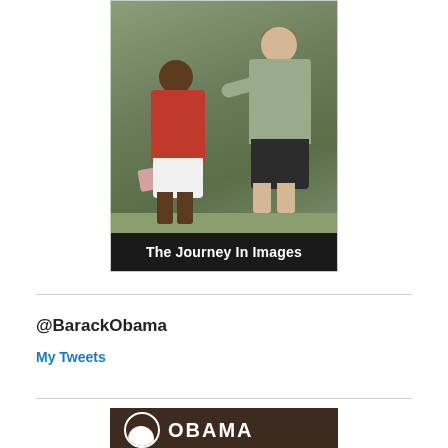[Figure (photo): Vintage photograph of two people posing together outdoors on grass. A shorter person in a red checkered shirt and white shorts stands in front, and a taller person in a plaid shirt and dark shorts stands behind with arm around the shorter person. Below the photo is a black bar with white text reading 'The Journey In Images'.]
The Journey In Images
@BarackObama
My Tweets
[Figure (logo): Obama campaign logo — dark brown background with a white circular Obama 'O' sunrise logo followed by the text 'OBAMA' in large white capital letters.]